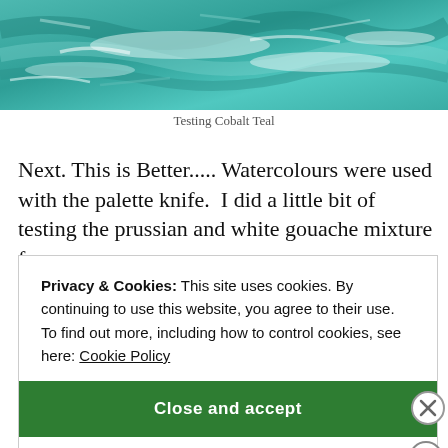[Figure (photo): Teal/turquoise watercolour painting, textured brushstrokes and palette knife marks showing cobalt teal pigment on paper.]
Testing Cobalt Teal
Next. This is Better..... Watercolours were used with the palette knife.  I did a little bit of testing the prussian and white gouache mixture for an intertwining look of surf and waves crashing about
Privacy & Cookies: This site uses cookies. By continuing to use this website, you agree to their use.
To find out more, including how to control cookies, see here: Cookie Policy
Close and accept